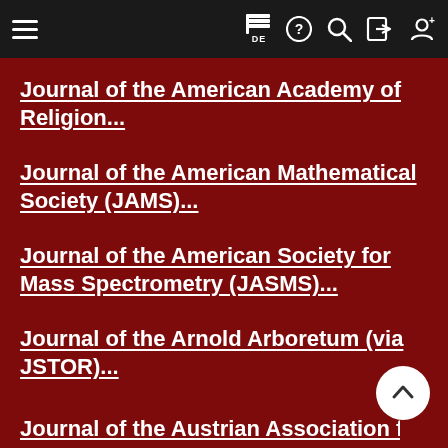Navigation bar with hamburger menu, flag/DE, help, search, login, and user icons
Journal of the American Academy of Religion...
Journal of the American Mathematical Society (JAMS)...
Journal of the American Society for Mass Spectrometry (JASMS)...
Journal of the Arnold Arboretum (via JSTOR)...
Journal of the Austrian Association f...